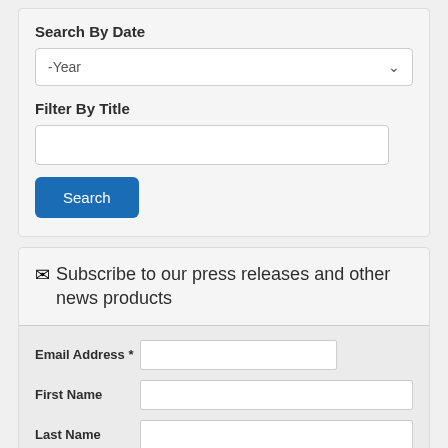Search By Date
[Figure (screenshot): Dropdown select input labeled -Year with chevron arrow]
Filter By Title
[Figure (screenshot): Empty text input box for title filter]
Search
Subscribe to our press releases and other news products
Email Address *
First Name
Last Name